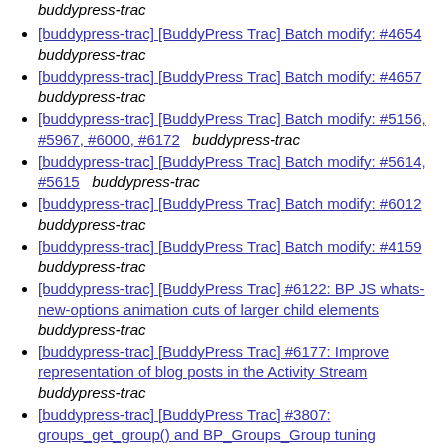buddypress-trac
[buddypress-trac] [BuddyPress Trac] Batch modify: #4654  buddypress-trac
[buddypress-trac] [BuddyPress Trac] Batch modify: #4657  buddypress-trac
[buddypress-trac] [BuddyPress Trac] Batch modify: #5156, #5967, #6000, #6172   buddypress-trac
[buddypress-trac] [BuddyPress Trac] Batch modify: #5614, #5615   buddypress-trac
[buddypress-trac] [BuddyPress Trac] Batch modify: #6012  buddypress-trac
[buddypress-trac] [BuddyPress Trac] Batch modify: #4159  buddypress-trac
[buddypress-trac] [BuddyPress Trac] #6122: BP JS whats-new-options animation cuts of larger child elements  buddypress-trac
[buddypress-trac] [BuddyPress Trac] #6177: Improve representation of blog posts in the Activity Stream  buddypress-trac
[buddypress-trac] [BuddyPress Trac] #3807: groups_get_group() and BP_Groups_Group tuning  buddypress-trac
[buddypress-trac] [BuddyPress Trac] #6181: separate setting to allow blog/forum commenting   buddypress-trac
[buddypress-trac] [BuddyPress Trac] #6181: separate setting